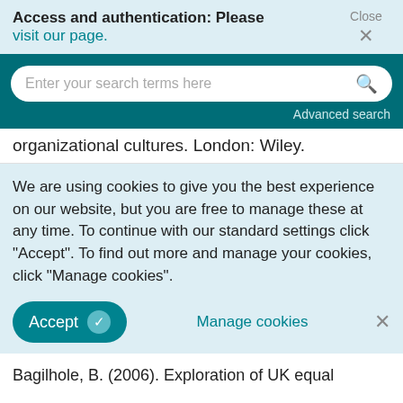Access and authentication: Please visit our page.   Close ×
[Figure (screenshot): Search bar with placeholder text 'Enter your search terms here' and a search icon, on a dark teal background, with 'Advanced search' link below]
organizational cultures. London: Wiley.
We are using cookies to give you the best experience on our website, but you are free to manage these at any time. To continue with our standard settings click "Accept". To find out more and manage your cookies, click "Manage cookies".
Accept  ✓   Manage cookies   ×
Bagilhole, B. (2006). Exploration of UK equal